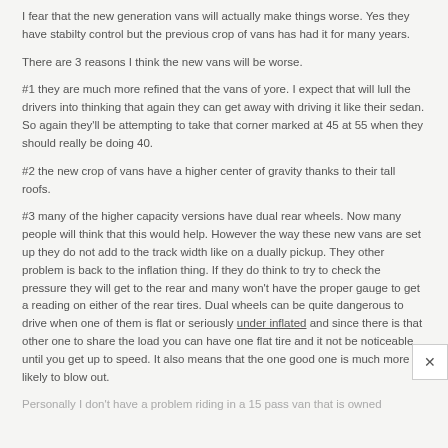I fear that the new generation vans will actually make things worse. Yes they have stabilty control but the previous crop of vans has had it for many years.
There are 3 reasons I think the new vans will be worse.
#1 they are much more refined that the vans of yore. I expect that will lull the drivers into thinking that again they can get away with driving it like their sedan. So again they'll be attempting to take that corner marked at 45 at 55 when they should really be doing 40.
#2 the new crop of vans have a higher center of gravity thanks to their tall roofs.
#3 many of the higher capacity versions have dual rear wheels. Now many people will think that this would help. However the way these new vans are set up they do not add to the track width like on a dually pickup. They other problem is back to the inflation thing. If they do think to try to check the pressure they will get to the rear and many won't have the proper gauge to get a reading on either of the rear tires. Dual wheels can be quite dangerous to drive when one of them is flat or seriously under inflated and since there is that other one to share the load you can have one flat tire and it not be noticeable until you get up to speed. It also means that the one good one is much more likely to blow out.
Personally I don't have a problem riding in a 15 pass van that is owned